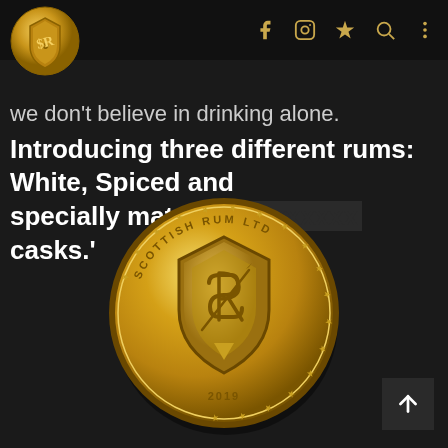Scottish Rum Ltd — website screenshot header with social icons
we don't believe in drinking alone. Introducing three different rums: White, Spiced and specially matured in … casks.'
[Figure (logo): Scottish Rum Ltd gold coin logo — a large gold coin with a shield emblem featuring stylized SR initials, the text SCOTTISH RUM LTD around the top, stars around the edge, and 2019 at the bottom]